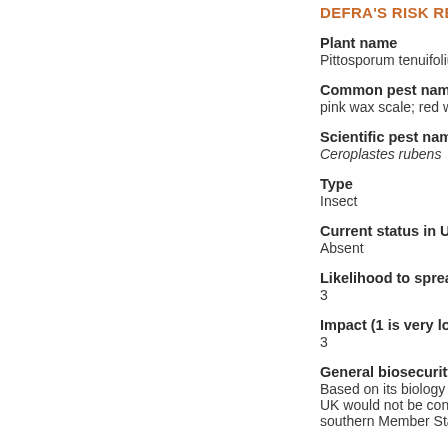DEFRA'S RISK RE...
Plant name
Pittosporum tenuifolium 'S...
Common pest name
pink wax scale; red wax sc...
Scientific pest name
Ceroplastes rubens
Type
Insect
Current status in UK
Absent
Likelihood to spread t...
3
Impact (1 is very low -...
3
General biosecurity co...
Based on its biology and l... UK would not be considere... southern Member States o...
DEFRA'S RISK RE...